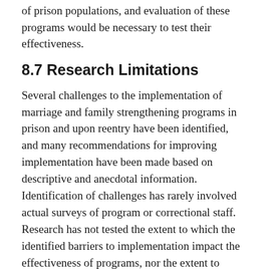of prison populations, and evaluation of these programs would be necessary to test their effectiveness.
8.7 Research Limitations
Several challenges to the implementation of marriage and family strengthening programs in prison and upon reentry have been identified, and many recommendations for improving implementation have been made based on descriptive and anecdotal information. Identification of challenges has rarely involved actual surveys of program or correctional staff. Research has not tested the extent to which the identified barriers to implementation impact the effectiveness of programs, nor the extent to which addressing different barriers to program implementation in turn improves the impacts of program participation for incarcerated and reentering fathers and their families.